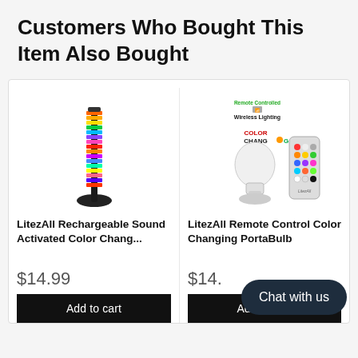Customers Who Bought This Item Also Bought
[Figure (photo): RGB sound-activated light bar tower product photo]
LitezAll Rechargeable Sound Activated Color Chang...
$14.99
[Figure (photo): LitezAll Remote Control Color Changing PortaBulb with remote control product photo]
LitezAll Remote Control Color Changing PortaBulb
$14.
Chat with us